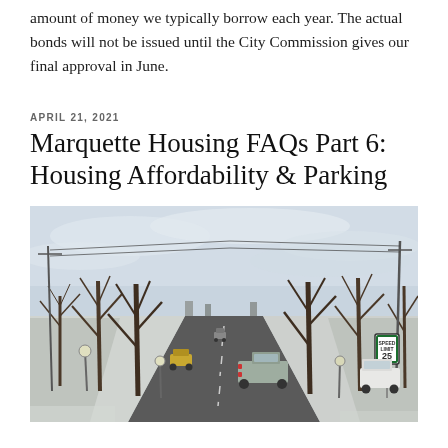amount of money we typically borrow each year. The actual bonds will not be issued until the City Commission gives our final approval in June.
APRIL 21, 2021
Marquette Housing FAQs Part 6: Housing Affordability & Parking
[Figure (photo): Winter street scene showing a tree-lined road with bare deciduous trees, snow on the ground and sidewalks, utility poles with power lines, vehicles on the road including a pickup truck and a car, a speed limit 25 sign on the right side, and streetlights. The sky is overcast.]